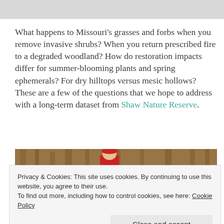[Figure (photo): Gray/light colored image strip at top of page, likely cropped photo]
What happens to Missouri's grasses and forbs when you remove invasive shrubs? When you return prescribed fire to a degraded woodland? How do restoration impacts differ for summer-blooming plants and spring ephemerals? For dry hilltops versus mesic hollows? These are a few of the questions that we hope to address with a long-term dataset from Shaw Nature Reserve.
[Figure (photo): Outdoor woodland photo showing a person in a red jacket or shirt among trees with autumn foliage]
Privacy & Cookies: This site uses cookies. By continuing to use this website, you agree to their use. To find out more, including how to control cookies, see here: Cookie Policy
Close and accept